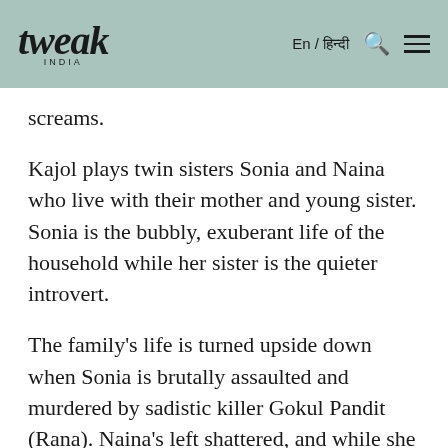tweak INDIA | En / हिन्दी
screams.
Kajol plays twin sisters Sonia and Naina who live with their mother and young sister. Sonia is the bubbly, exuberant life of the household while her sister is the quieter introvert.
The family's life is turned upside down when Sonia is brutally assaulted and murdered by sadistic killer Gokul Pandit (Rana). Naina's left shattered, and while she vows to hunt down the man who killed her sister she's also terrified. As one would be tracking a serial killer and rapist.